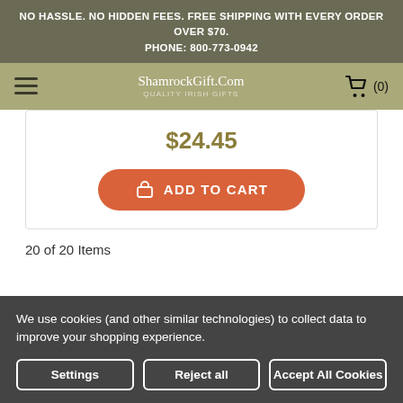NO HASSLE. NO HIDDEN FEES. FREE SHIPPING WITH EVERY ORDER OVER $70.
PHONE: 800-773-0942
ShamrockGift.Com
QUALITY IRISH GIFTS
$24.45
ADD TO CART
20 of 20 Items
We use cookies (and other similar technologies) to collect data to improve your shopping experience.
Settings
Reject all
Accept All Cookies